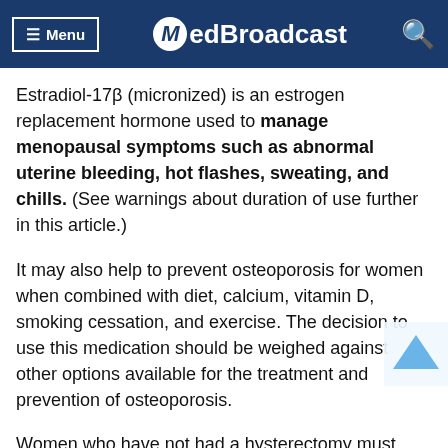Menu | MedBroadcast
Estradiol-17β (micronized) is an estrogen replacement hormone used to manage menopausal symptoms such as abnormal uterine bleeding, hot flashes, sweating, and chills. (See warnings about duration of use further in this article.)
It may also help to prevent osteoporosis for women when combined with diet, calcium, vitamin D, smoking cessation, and exercise. The decision to use this medication should be weighed against other options available for the treatment and prevention of osteoporosis.
Women who have not had a hysterectomy must also take a progestogen while they are taking this medication.
This medication may be available under multiple